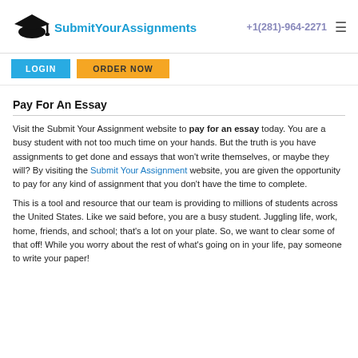SubmitYourAssignments +1(281)-964-2271
LOGIN   ORDER NOW
Pay For An Essay
Visit the Submit Your Assignment website to pay for an essay today. You are a busy student with not too much time on your hands. But the truth is you have assignments to get done and essays that won't write themselves, or maybe they will? By visiting the Submit Your Assignment website, you are given the opportunity to pay for any kind of assignment that you don't have the time to complete.
This is a tool and resource that our team is providing to millions of students across the United States. Like we said before, you are a busy student. Juggling life, work, home, friends, and school; that's a lot on your plate. So, we want to clear some of that off! While you worry about the rest of what's going on in your life, pay someone to write your paper!